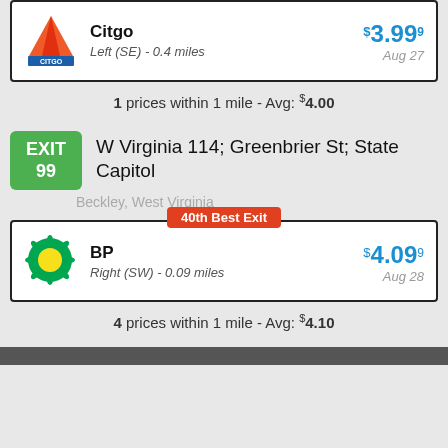[Figure (logo): Citgo logo with orange triangle and blue CITGO text]
Citgo
Left (SE) - 0.4 miles
$3.99⁹ Aug 27
1 prices within 1 mile - Avg: $4.00
EXIT 99
W Virginia 114; Greenbrier St; State Capitol
Beckley, West Virginia
40th Best Exit
[Figure (logo): BP logo green and yellow sunflower]
BP
Right (SW) - 0.09 miles
$4.09⁹ Aug 28
4 prices within 1 mile - Avg: $4.10